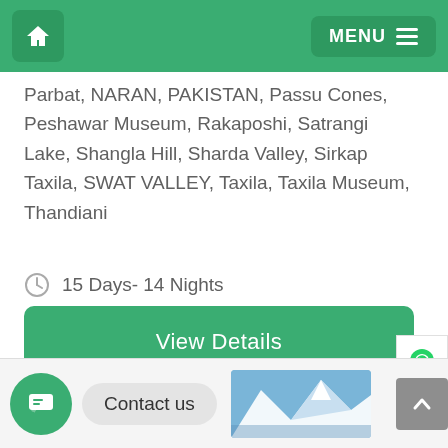[Figure (screenshot): Navigation bar with home icon on left and MENU button on right, green background]
Parbat, NARAN, PAKISTAN, Passu Cones, Peshawar Museum, Rakaposhi, Satrangi Lake, Shangla Hill, Sharda Valley, Sirkap Taxila, SWAT VALLEY, Taxila, Taxila Museum, Thandiani
15 Days- 14 Nights
View Details
Contact us